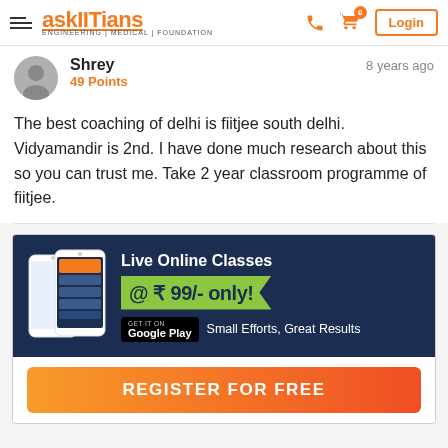askIITians – ENGINEERING | MEDICAL | FOUNDATION
Shrey
49 Points
8 years ago
The best coaching of delhi is fiitjee south delhi. Vidyamandir is 2nd. I have done much research about this so you can trust me. Take 2 year classroom programme of fiitjee.
[Figure (infographic): Advertisement banner: Live Online Classes @ ₹ 99/- only! Small Efforts, Great Results. Google Play badge. Register for Free button.]